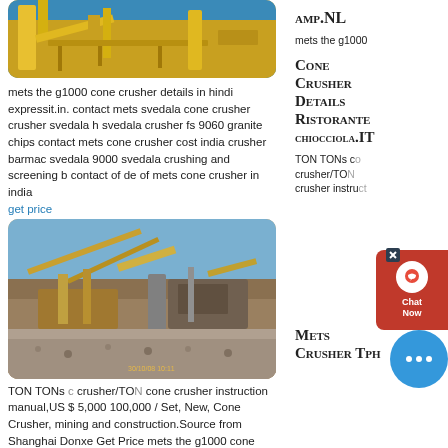[Figure (photo): Yellow industrial crane/machinery equipment photo]
mets the g1000 cone crusher details in hindi expressit.in. contact mets svedala cone crusher crusher svedala h svedala crusher fs 9060 granite chips contact mets cone crusher cost india crusher barmac svedala 9000 svedala crushing and screening b contact of de of mets cone crusher in india
get price
[Figure (photo): Mining crushing and screening plant with conveyor belts and machinery on gravel site]
TON TONs cone crusher/TON cone crusher instruction manual,US $ 5,000 100,000 / Set, New, Cone Crusher, mining and construction.Source from Shanghai Donxe Get Price mets the g1000 cone crusher details in hindi
get
[Figure (photo): Industrial building/structure with blue sky background]
amp.Nl
Cone Crusher Details Ristorante chiocciola.It
Mets Crusher Tph